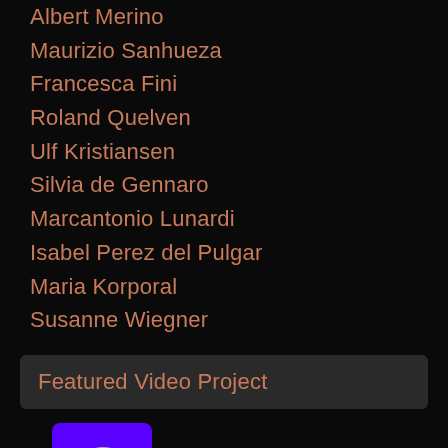Albert Merino
Maurizio Sanhueza
Francesca Fini
Roland Quelven
Ulf Kristiansen
Silvia de Gennaro
Marcantonio Lunardi
Isabel Perez del Pulgar
Maria Korporal
Susanne Wiegner
Featured Video Project
[Figure (photo): An @ symbol followed by a purple rounded rectangle with a circular portrait photograph of an elderly bald man overlaid on it, partially cut off at the bottom of the page.]